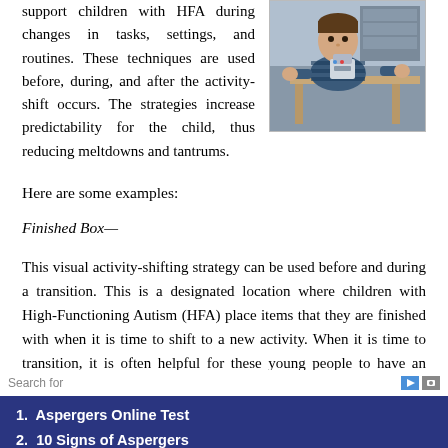support children with HFA during changes in tasks, settings, and routines. These techniques are used before, during, and after the activity-shift occurs. The strategies increase predictability for the child, thus reducing meltdowns and tantrums.
[Figure (photo): A young boy in a striped shirt working with robotics or building materials at a desk in a classroom setting]
Here are some examples:
Finished Box—
This visual activity-shifting strategy can be used before and during a transition. This is a designated location where children with High-Functioning Autism (HFA) place items that they are finished with when it is time to shift to a new activity. When it is time to transition, it is often helpful for these young people to have an assigned location to put materials prior to moving on to the next task. The box may be located in the child's work area or in any
Search for
1. Aspergers Online Test
2. 10 Signs of Aspergers